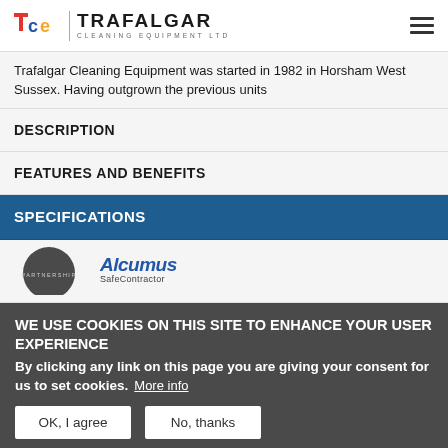Trafalgar Cleaning Equipment Ltd
Trafalgar Cleaning Equipment was started in 1982 in Horsham West Sussex. Having outgrown the previous units
DESCRIPTION
FEATURES AND BENEFITS
SPECIFICATIONS
[Figure (logo): Arcanas SafeContractor badge and Partnership logo]
WE USE COOKIES ON THIS SITE TO ENHANCE YOUR USER EXPERIENCE
By clicking any link on this page you are giving your consent for us to set cookies. More info
OK, I agree
No, thanks